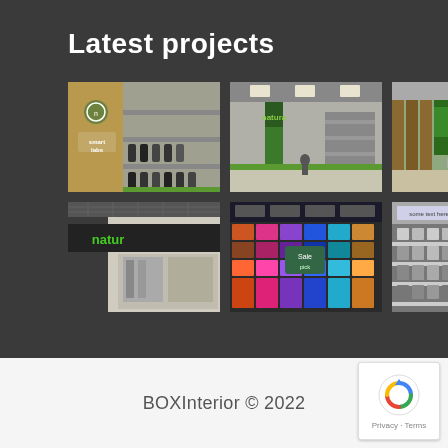Latest projects
[Figure (photo): Grid of 6 retail store interior photos showing shelves, products, and store signage for what appears to be a nature/organic products store brand]
BOXInterior © 2022